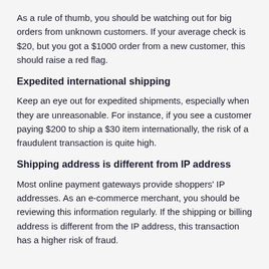As a rule of thumb, you should be watching out for big orders from unknown customers. If your average check is $20, but you got a $1000 order from a new customer, this should raise a red flag.
Expedited international shipping
Keep an eye out for expedited shipments, especially when they are unreasonable. For instance, if you see a customer paying $200 to ship a $30 item internationally, the risk of a fraudulent transaction is quite high.
Shipping address is different from IP address
Most online payment gateways provide shoppers' IP addresses. As an e-commerce merchant, you should be reviewing this information regularly. If the shipping or billing address is different from the IP address, this transaction has a higher risk of fraud.